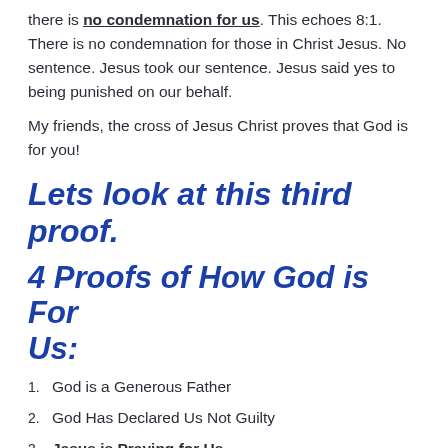there is no condemnation for us. This echoes 8:1. There is no condemnation for those in Christ Jesus. No sentence. Jesus took our sentence. Jesus said yes to being punished on our behalf.
My friends, the cross of Jesus Christ proves that God is for you!
Lets look at this third proof.
4 Proofs of How God is For Us:
1. God is a Generous Father
2. God Has Declared Us Not Guilty
3. Jesus is Praying for Us
4. Jesus has Secured our Future